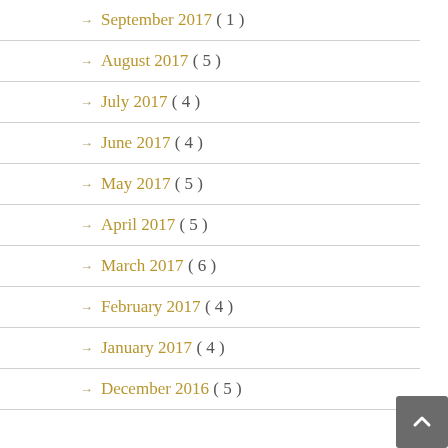→ September 2017 ( 1 )
→ August 2017 ( 5 )
→ July 2017 ( 4 )
→ June 2017 ( 4 )
→ May 2017 ( 5 )
→ April 2017 ( 5 )
→ March 2017 ( 6 )
→ February 2017 ( 4 )
→ January 2017 ( 4 )
→ December 2016 ( 5 )